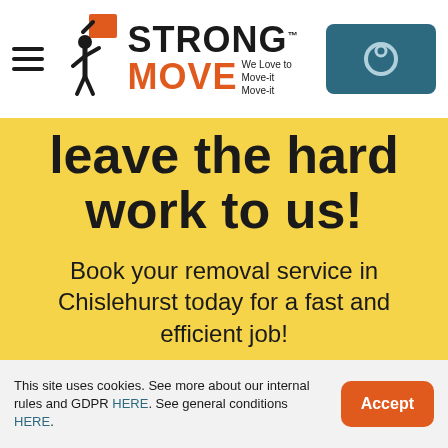Strong Move — We Love to Move-it Move-it
leave the hard work to us!
Book your removal service in Chislehurst today for a fast and efficient job!
BOOK NOW
This site uses cookies. See more about our internal rules and GDPR HERE. See general conditions HERE.